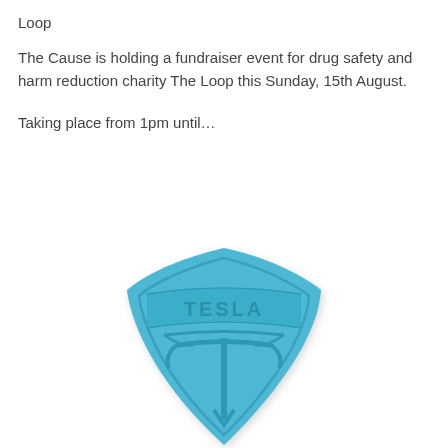Loop
The Cause is holding a fundraiser event for drug safety and harm reduction charity The Loop this Sunday, 15th August.
Taking place from 1pm until...
[Figure (photo): A blue pill/tablet shaped like the Tesla logo shield, with the word TESLA embossed at the top and the Tesla T symbol below it.]